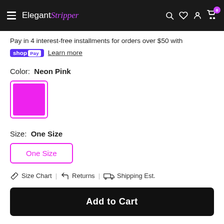Elegant Stripper — navigation bar with menu, logo, search, wishlist, account, cart (0)
Pay in 4 interest-free installments for orders over $50 with shop Pay  Learn more
Color:  Neon Pink
[Figure (other): Neon pink color swatch square with pink border]
Size:  One Size
[Figure (other): Size selector button labeled 'One Size' with pink border]
Size Chart | Returns | Shipping Est.
Add to Cart